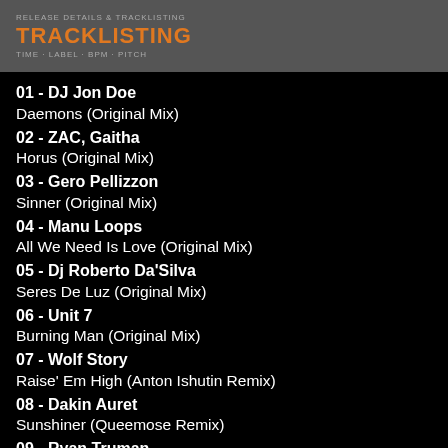TRACKLISTING
01 - DJ Jon Doe
Daemons (Original Mix)
02 - ZAC, Gaitha
Horus (Original Mix)
03 - Gero Pellizzon
Sinner (Original Mix)
04 - Manu Loops
All We Need Is Love (Original Mix)
05 - Dj Roberto Da'Silva
Seres De Luz (Original Mix)
06 - Unit 7
Burning Man (Original Mix)
07 - Wolf Story
Raise' Em High (Anton Ishutin Remix)
08 - Dakin Auret
Sunshiner (Queemose Remix)
09 - Ryan Truman